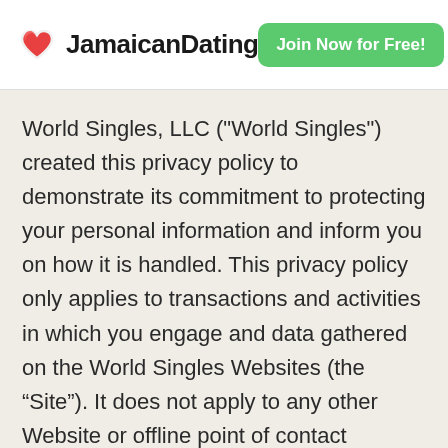JamaicanDating | Join Now for Free!
World Singles, LLC ("World Singles") created this privacy policy to demonstrate its commitment to protecting your personal information and inform you on how it is handled. This privacy policy only applies to transactions and activities in which you engage and data gathered on the World Singles Websites (the “Site”). It does not apply to any other Website or offline point of contact between World Singles, or any other company and